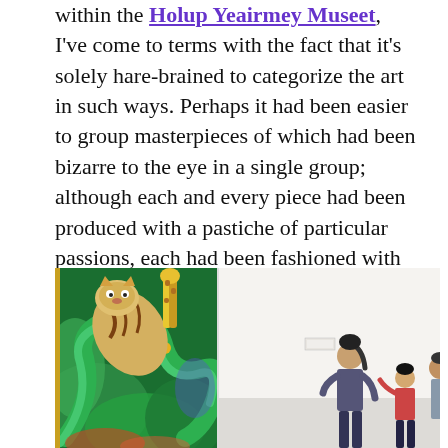within the Holup Yeairmey Museet, I've come to terms with the fact that it's solely hare-brained to categorize the art in such ways. Perhaps it had been easier to group masterpieces of which had been bizarre to the eye in a single group; although each and every piece had been produced with a pastiche of particular passions, each had been fashioned with idiosyncratic intentions. This is my opinion, due to the fact that I find hardship in distinguishing similitude between denim doused canvases, shopping cart creations, and paper-carved coups.
[Figure (photo): A split museum image: left side shows a colorful tapestry or artwork with a tiger and dragon motif in vivid greens, golds and browns; right side shows museum visitors (adults and children) viewing white gallery walls.]